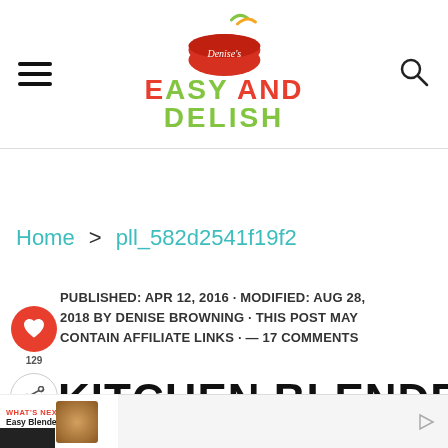Easy and Delish (logo/header with hamburger menu and search icon)
Home > pll_582d2541f19f2
PUBLISHED: APR 12, 2016 · MODIFIED: AUG 28, 2018 BY DENISE BROWNING · THIS POST MAY CONTAIN AFFILIATE LINKS · — 17 COMMENTS
KITCHEN BLENDER FROM PIZZA (NO
WHAT'S NEXT → Easy Blender Brazilian...